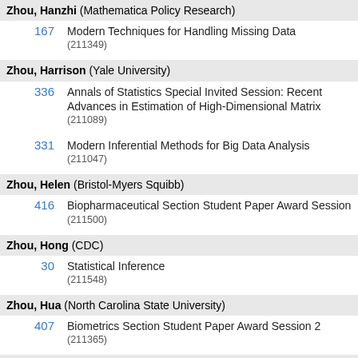Zhou, Hanzhi (Mathematica Policy Research)
167 Modern Techniques for Handling Missing Data (211349)
Zhou, Harrison (Yale University)
336 Annals of Statistics Special Invited Session: Recent Advances in Estimation of High-Dimensional Matrix (211089)
331 Modern Inferential Methods for Big Data Analysis (211047)
Zhou, Helen (Bristol-Myers Squibb)
416 Biopharmaceutical Section Student Paper Award Session (211500)
Zhou, Hong (CDC)
30 Statistical Inference (211548)
Zhou, Hua (North Carolina State University)
407 Biometrics Section Student Paper Award Session 2 (211365)
Zhou, Jack (FDA/CDRH)